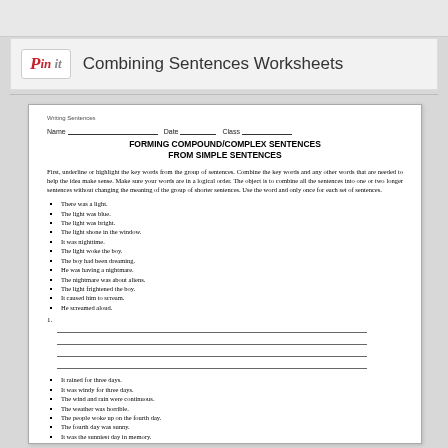[Figure (logo): Pinterest 'Pin it' button logo in red italic script]
Combining Sentences Worksheets
[Figure (screenshot): Worksheet titled 'FORMING COMPOUND/COMPLEX SENTENCES FROM SIMPLE SENTENCES' with instructions, bullet lists of simple sentences, and numbered writing lines.]
Writing Sentences
Name _________________ Date _______ Class _________
FORMING COMPOUND/COMPLEX SENTENCES FROM SIMPLE SENTENCES
First, underline or highlight the key words from the group of sentences. Combine the key words and any other words that are needed to help the idea make sense. Make sure your words are in a logical order. The object is to combine all the sentences into one or two longer sentences without changing the meaning of the group of shorter sentences. Use the word and only once for each set of sentences.
There was a light.
The light was blue.
The light was bright.
The light shone in the window.
It was nighttime.
The light woke the boy.
The boy had been dreaming.
He was having a nightmare.
The nightmare was about aliens.
The light frightened the boy.
It caused him to scream.
He screamed aloud.
It rained for three days.
It was windy for three days.
The wind and rain were continuous.
The weather was horrible.
The people woke up on the fourth day.
The fourth day was sunny.
It was the sunniest day in memory.
The sky was very blue.
The people walked out of their homes.
They walked cautiously.
They surveyed the damage.